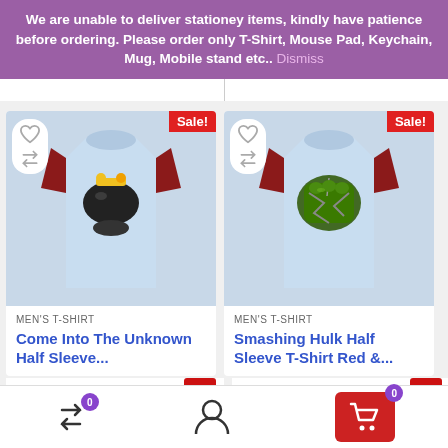We are unable to deliver stationey items, kindly have patience before ordering. Please order only T-Shirt, Mouse Pad, Keychain, Mug, Mobile stand etc.. Dismiss
[Figure (photo): T-shirt product card: 'Come Into The Unknown Half Sleeve...' Men's T-Shirt with red sleeves and motorcycle graphic, Sale badge, wishlist and compare icons]
[Figure (photo): T-shirt product card: 'Smashing Hulk Half Sleeve T-Shirt Red &...' Men's T-Shirt with red sleeves and Hulk fist graphic, Sale badge, wishlist and compare icons]
MEN'S T-SHIRT
Come Into The Unknown Half Sleeve...
MEN'S T-SHIRT
Smashing Hulk Half Sleeve T-Shirt Red &...
Bottom navigation bar with compare (0), user, and cart (0) icons